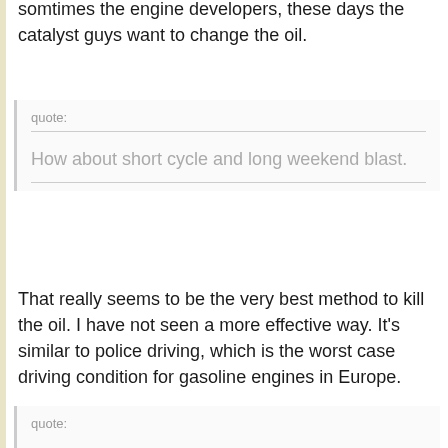somtimes the engine developers, these days the catalyst guys want to change the oil.
quote:
How about short cycle and long weekend blast.
That really seems to be the very best method to kill the oil. I have not seen a more effective way. It's similar to police driving, which is the worst case driving condition for gasoline engines in Europe.
quote: